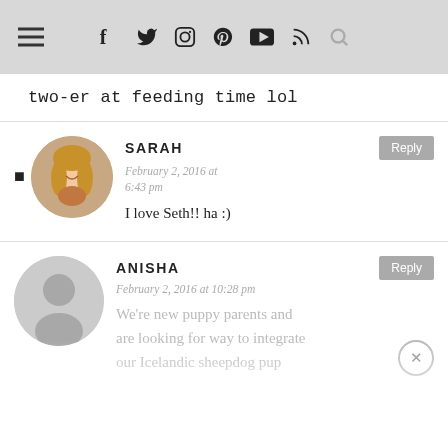≡ f 🐦 📷 pinterest ▶ RSS 🔍
two-er at feeding time lol
SARAH
February 2, 2016 at 6:43 pm
I love Seth!! ha :)
ANISHA
February 2, 2016 at 10:28 pm
We're new puppy parents and are looking for way to integrate our Icelandic sheepdog pup...